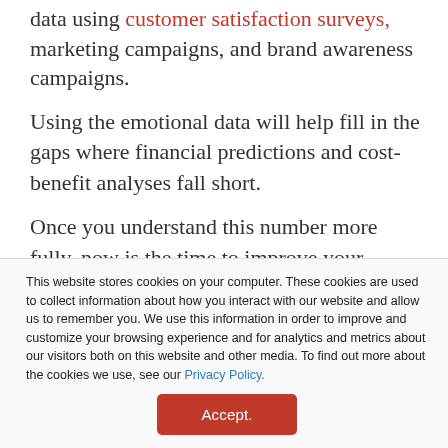data using customer satisfaction surveys, marketing campaigns, and brand awareness campaigns.
Using the emotional data will help fill in the gaps where financial predictions and cost-benefit analyses fall short.
Once you understand this number more fully, now is the time to improve your brand's equity (which will also help your brand's value).
This website stores cookies on your computer. These cookies are used to collect information about how you interact with our website and allow us to remember you. We use this information in order to improve and customize your browsing experience and for analytics and metrics about our visitors both on this website and other media. To find out more about the cookies we use, see our Privacy Policy.
Accept.